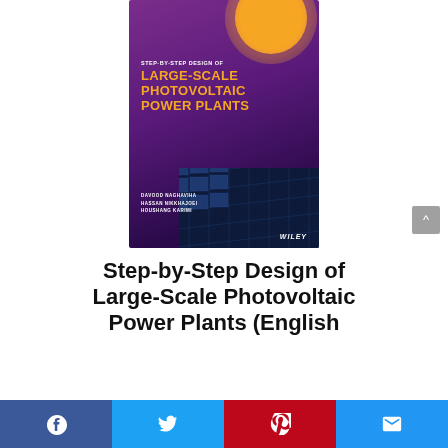[Figure (illustration): Book cover for 'Step-by-Step Design of Large-Scale Photovoltaic Power Plants' by Davood Naghaviha, Hassan Nikkhajoei, Houshang Karimi. Published by Wiley. Purple/violet gradient background with an orange sun circle at top right and solar panels at bottom right. Title text in yellow/gold bold uppercase letters.]
Step-by-Step Design of Large-Scale Photovoltaic Power Plants (English
[Figure (other): Social sharing bar with Facebook, Twitter, Pinterest, and Email buttons]